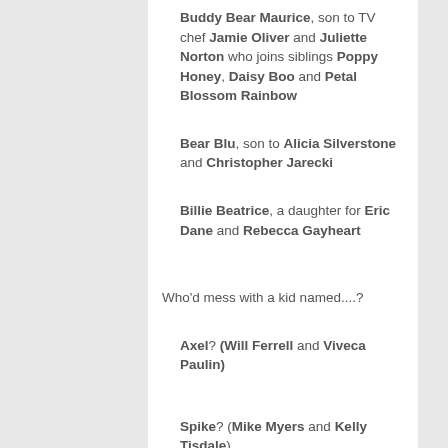Buddy Bear Maurice, son to TV chef Jamie Oliver and Juliette Norton who joins siblings Poppy Honey, Daisy Boo and Petal Blossom Rainbow
Bear Blu, son to Alicia Silverstone and Christopher Jarecki
Billie Beatrice, a daughter for Eric Dane and Rebecca Gayheart
Who'd mess with a kid named....?
Axel? (Will Ferrell and Viveca Paulin)
Spike? (Mike Myers and Kelly Tisdale)
Aleph? (Natalie Portman and Benjamin